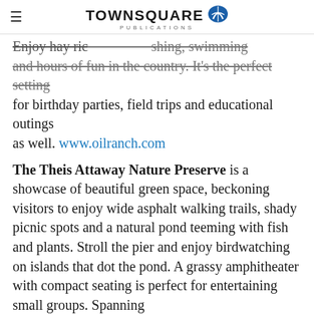TOWNSQUARE PUBLICATIONS
Enjoy hay rides, fishing, swimming and hours of fun in the country. It's the perfect setting for birthday parties, field trips and educational outings as well. www.oilranch.com
The Theis Attaway Nature Preserve is a showcase of beautiful green space, beckoning visitors to enjoy wide asphalt walking trails, shady picnic spots and a natural pond teeming with fish and plants. Stroll the pier and enjoy birdwatching on islands that dot the pond. A grassy amphitheater with compact seating is perfect for entertaining small groups. Spanning 4 acres, the water fountains and restrooms are on-site. www.tomballtx.gov
Enjoy nature's bounty while you pick fresh fruit to fill your basket at the Matt Family Orchard. Forty fabulous acres are brimming with peaches, figs, loquats,